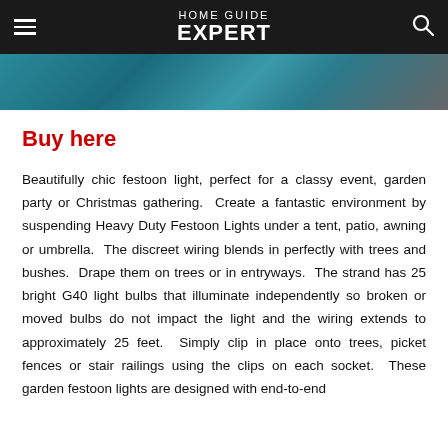HOME GUIDE EXPERT
[Figure (photo): Partial view of a decorative image, likely festoon lights in a dark outdoor setting with teal/blue tones]
Buy here
Beautifully chic festoon light, perfect for a classy event, garden party or Christmas gathering.  Create a fantastic environment by suspending Heavy Duty Festoon Lights under a tent, patio, awning or umbrella.  The discreet wiring blends in perfectly with trees and bushes.  Drape them on trees or in entryways.  The strand has 25 bright G40 light bulbs that illuminate independently so broken or moved bulbs do not impact the light and the wiring extends to approximately 25 feet.  Simply clip in place onto trees, picket fences or stair railings using the clips on each socket.  These garden festoon lights are designed with end-to-end